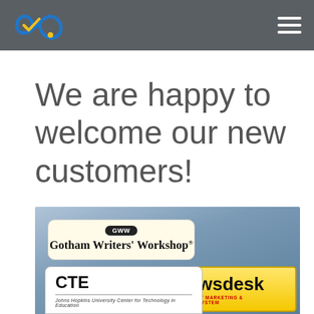We are happy to welcome our new customers!
[Figure (logo): Collection of customer logos: Gotham Writers' Workshop, NetNewsdesk (Scalable Internet Marketing & Communications System), and CTE - Johns Hopkins University Center for Technology in Education, displayed on a blue gradient background.]